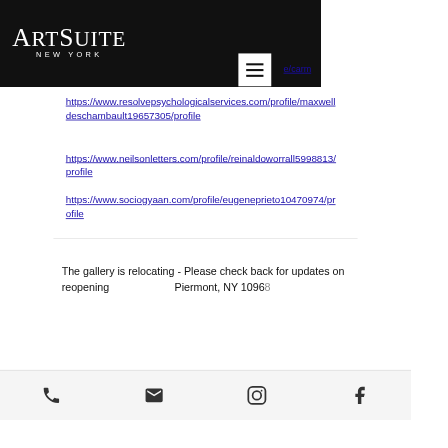ArtSuite New York
https://www.resolvepsychologicalservices.com/profile/maxwelldeschambault19657305/profile
https://www.neilsonletters.com/profile/reinaldoworrall5998813/profile
https://www.sociogyaan.com/profile/eugeneprieto10470974/profile
The gallery is relocating - Please check back for updates on reopening    Piermont, NY 10968
Phone | Email | Instagram | Facebook